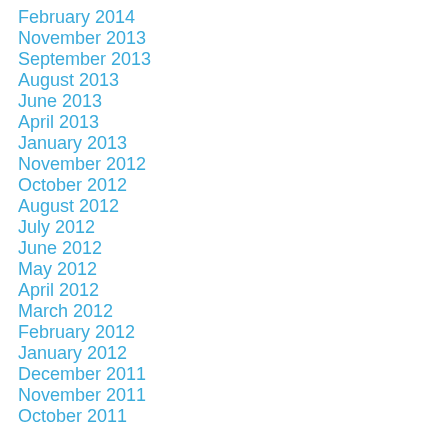February 2014
November 2013
September 2013
August 2013
June 2013
April 2013
January 2013
November 2012
October 2012
August 2012
July 2012
June 2012
May 2012
April 2012
March 2012
February 2012
January 2012
December 2011
November 2011
October 2011